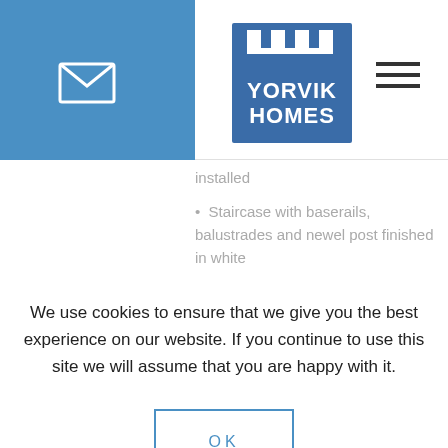[Figure (logo): Yorvik Homes logo with castle battlement graphic and blue/white coloring]
installed
Staircase with baserails, balustrades and newel post finished in white
We use cookies to ensure that we give you the best experience on our website. If you continue to use this site we will assume that you are happy with it.
OK